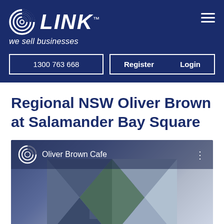[Figure (logo): LINK Business logo with spiral icon and tagline 'we sell businesses' on dark navy background]
1300 763 668
Register  Login
Regional NSW Oliver Brown at Salamander Bay Square
[Figure (screenshot): Oliver Brown Cafe video thumbnail showing geometric logo pattern on blue-grey gradient background with 'Oliver Brown Cafe' text overlay]